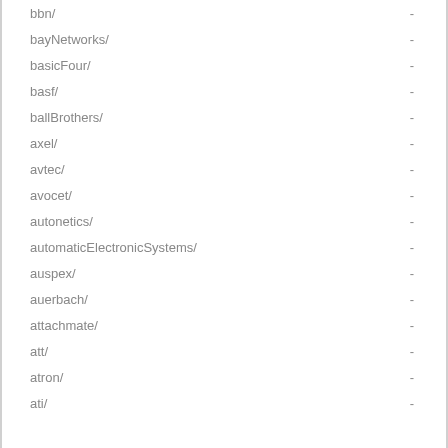bbn/ -
bayNetworks/ -
basicFour/ -
basf/ -
ballBrothers/ -
axel/ -
avtec/ -
avocet/ -
autonetics/ -
automaticElectronicSystems/ -
auspex/ -
auerbach/ -
attachmate/ -
att/ -
atron/ -
ati/ -